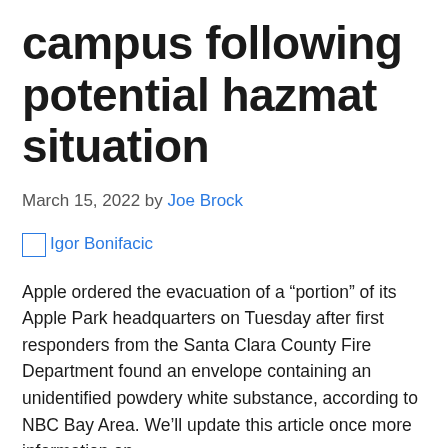campus following potential hazmat situation
March 15, 2022 by Joe Brock
[Figure (other): Author image placeholder for Igor Bonifacic with link]
Apple ordered the evacuation of a “portion” of its Apple Park headquarters on Tuesday after first responders from the Santa Clara County Fire Department found an envelope containing an unidentified powdery white substance, according to NBC Bay Area. We’ll update this article once more information on